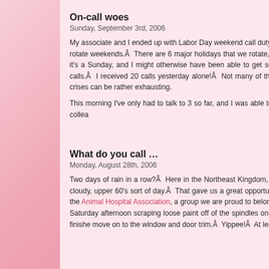On-call woes
Sunday, September 3rd, 2006
My associate and I ended up with Labor Day weekend call duty this year for our emergency co-op.Â  We have 6 participating clinics in the area, and we share call weeknights, and rotate weekends.Â  There are 6 major holidays that we rotate, as well.Â  on-call since yesterday morning, and my associate takes over at noon today.Â  At least today (naturally, it's a Sunday, and I might otherwise have been able to get some painting d outside of the building!) so hopefully it won't be so busy.Â  Yesterday wasÂ an absolute ni phone calls.Â  I received 20 calls yesterday alone!Â  Not many of them were actual emerge needed to be seen, but as you can imagine, having to talk 20 different people through th crises can be rather exhausting.
This morning I've only had to talk to 3 so far, and I was able to give a good report to the o hospitalized case, so it's a good day.Â  I'm looking forward to handing call over to my collea
Posted in Work | 2 Comments »
What do you call …
Monday, August 28th, 2006
Two days of rain in a row?Â  Here in the Northeast Kingdom, we call that a weekend!Â  A got away with only one day of rain this weekend (Sunday), and Saturday was a beau cloudy, upper 60's sort of day.Â  That gave us a great opportunity to do a little more painti front of our clinic building.Â  We're still trying to get ready for our certification visit from the Animal Hospital Association, a group we are proud to belong to.Â  They keep us on the s narrow, and help ensure that our standards of practice are uniformly high.Â  So, we s Saturday afternoon scraping loose paint off of the spindles on our entrance railing, and pub of primer on them.Â  We're still not quite done with the whole railing, but when that's finishe move on to the window and door trim.Â  Yippee!Â  At least staying in Littleton all afternoo